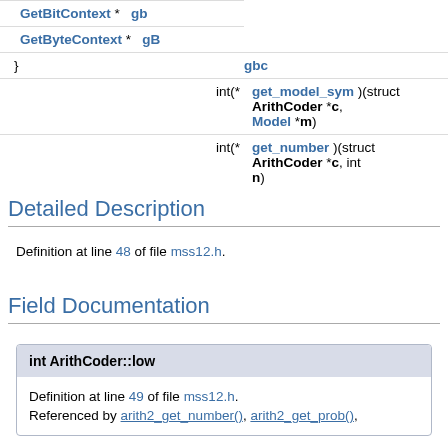| type | name/value |
| --- | --- |
| GetBitContext * | gb |
| GetByteContext * | gB |
| } | gbc |
| int(* | get_model_sym )(struct ArithCoder *c, Model *m) |
| int(* | get_number )(struct ArithCoder *c, int n) |
Detailed Description
Definition at line 48 of file mss12.h.
Field Documentation
int ArithCoder::low
Definition at line 49 of file mss12.h.
Referenced by arith2_get_number(), arith2_get_prob(),